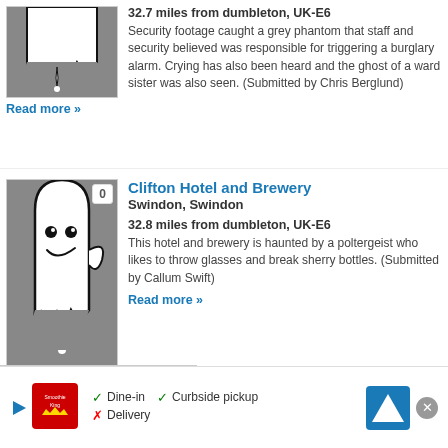[Figure (illustration): Ghost illustration on grey background, top listing]
32.7 miles from dumbleton, UK-E6
Security footage caught a grey phantom that staff and security believed was responsible for triggering a burglary alarm. Crying has also been heard and the ghost of a ward sister was also seen. (Submitted by Chris Berglund)
Read more »
[Figure (illustration): Friendly ghost cartoon illustration with badge '0' on grey background]
Clifton Hotel and Brewery
Swindon, Swindon
32.8 miles from dumbleton, UK-E6
This hotel and brewery is haunted by a poltergeist who likes to throw glasses and break sherry bottles. (Submitted by Callum Swift)
Read more »
[Figure (other): Partial third listing image, partially visible]
[Figure (other): Advertisement banner: Smoothie King - Dine-in, Curbside pickup, Delivery options with map icon]